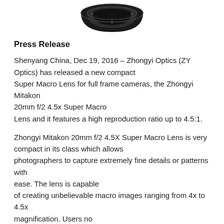[Figure (photo): Bottom portion of a camera lens adapter or mount ring, black, circular, viewed from above, centered at top of page]
Press Release
Shenyang China, Dec 19, 2016 – Zhongyi Optics (ZY Optics) has released a new compact Super Macro Lens for full frame cameras, the Zhongyi Mitakon 20mm f/2 4.5x Super Macro Lens and it features a high reproduction ratio up to 4.5:1.
Zhongyi Mitakon 20mm f/2 4.5X Super Macro Lens is very compact in its class which allows photographers to capture extremely fine details or patterns with ease. The lens is capable of creating unbelievable macro images ranging from 4x to 4.5x magnification. Users no longer need to DIY or use any extension tubes to reach high